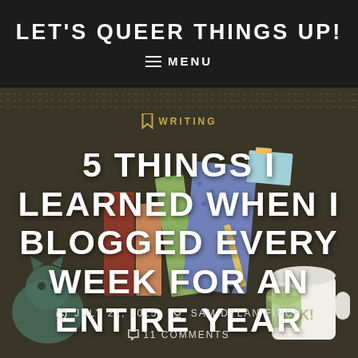LET'S QUEER THINGS UP!
≡ MENU
[Figure (illustration): Illustrated background of stacked colorful books with cartoon characters including a cat and a mug, used as hero image backdrop]
WRITING
5 THINGS I LEARNED WHEN I BLOGGED EVERY WEEK FOR AN ENTIRE YEAR
JULY 21, 2015   SAM DYLAN FINCH
11 COMMENTS